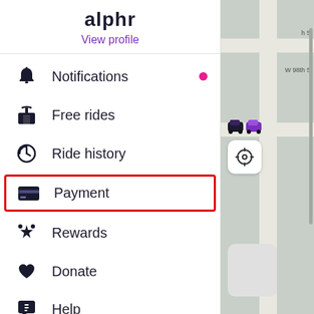[Figure (screenshot): Mobile app screenshot showing a Lyft-style ride-sharing app menu with the user profile name 'alphr', a 'View profile' link in purple, and menu items: Notifications (with pink dot), Free rides, Ride history, Payment (highlighted with red border), Rewards, Donate, Help, and a partially visible last item. The right side shows a map view with street labels and car icons.]